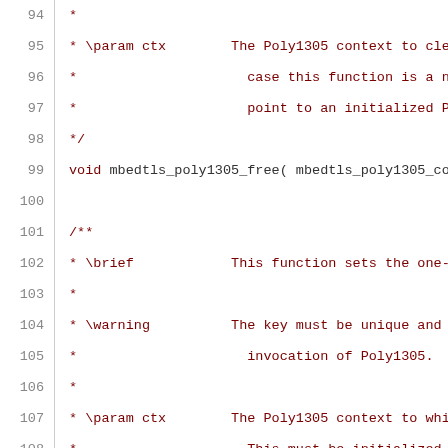Source code listing lines 94-115, C documentation comments for mbedtls poly1305 functions